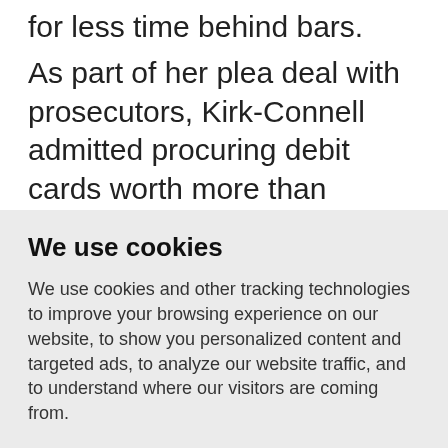for less time behind bars.
As part of her plea deal with prosecutors, Kirk-Connell admitted procuring debit cards worth more than $500,000 from the California Employment Development Department using stolen personal information.
We use cookies
We use cookies and other tracking technologies to improve your browsing experience on our website, to show you personalized content and targeted ads, to analyze our website traffic, and to understand where our visitors are coming from.